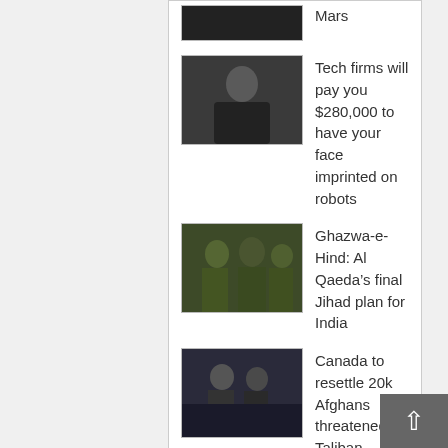[Figure (screenshot): Partial image (top cut off) - dark object]
Mars
[Figure (photo): Photo of a person in black shirt]
Tech firms will pay you $280,000 to have your face imprinted on robots
[Figure (photo): Photo of soldiers/military personnel in camouflage]
Ghazwa-e-Hind: Al Qaeda’s final Jihad plan for India
[Figure (photo): People wearing masks]
Canada to resettle 20k Afghans threatened by Taliban
[Figure (photo): Canadian flag waving]
Canada announces plans to welcome more than 1 million new immigrants
Manchester United closing in on signing Casemiro
Pakistan Debt Reaches Record High, Jumping to Nearly PKR60 trillion
Former NSA Calls Doha Accord ‘Terrible